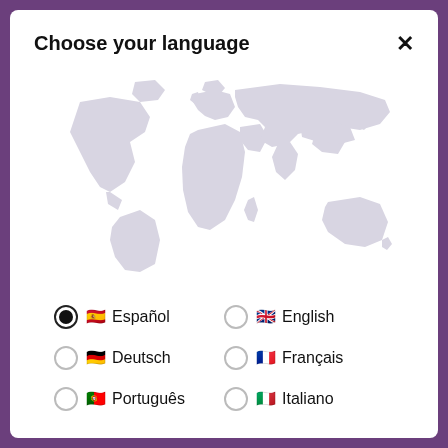Choose your language
[Figure (map): World map silhouette in light grey showing all continents]
Español (selected)
English
Deutsch
Français
Português
Italiano